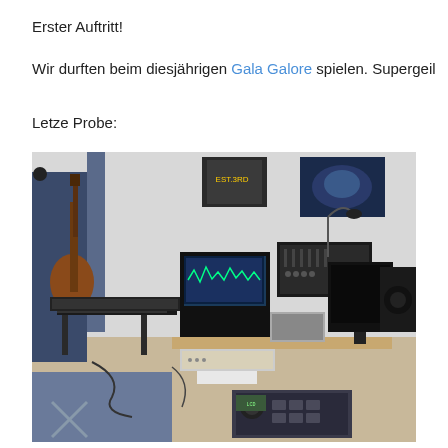Erster Auftritt!
Wir durften beim diesjährigen Gala Galore spielen. Supergeil
Letze Probe:
[Figure (photo): A home music studio setup with a person playing guitar on the left, multiple keyboards and synthesizers on stands, two computer monitors, mixing equipment, speakers, and various cables. A DJ controller is visible in the foreground. Posters on the wall in the background.]